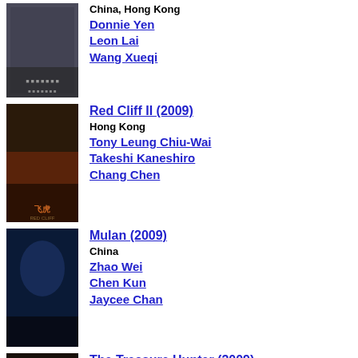[Figure (photo): Movie poster for first film (China, Hong Kong)]
China, Hong Kong
Donnie Yen
Leon Lai
Wang Xueqi
[Figure (photo): Movie poster for Red Cliff II (2009)]
Red Cliff II (2009)
Hong Kong
Tony Leung Chiu-Wai
Takeshi Kaneshiro
Chang Chen
[Figure (photo): Movie poster for Mulan (2009)]
Mulan (2009)
China
Zhao Wei
Chen Kun
Jaycee Chan
[Figure (photo): Movie poster for The Treasure Hunter (2009)]
The Treasure Hunter (2009)
Taiwan
Jay Chou
Lin Chi-Ling